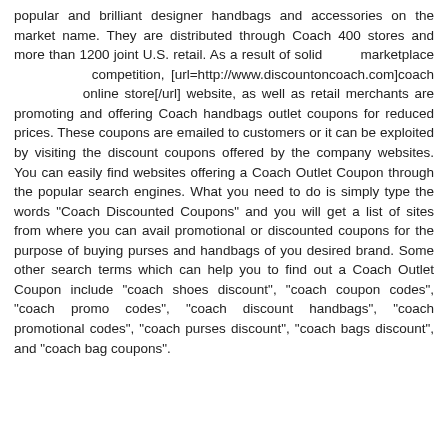popular and brilliant designer handbags and accessories on the market name. They are distributed through Coach 400 stores and more than 1200 joint U.S. retail. As a result of solid marketplace competition, [url=http://www.discountoncoach.com]coach online store[/url] website, as well as retail merchants are promoting and offering Coach handbags outlet coupons for reduced prices. These coupons are emailed to customers or it can be exploited by visiting the discount coupons offered by the company websites. You can easily find websites offering a Coach Outlet Coupon through the popular search engines. What you need to do is simply type the words "Coach Discounted Coupons" and you will get a list of sites from where you can avail promotional or discounted coupons for the purpose of buying purses and handbags of you desired brand. Some other search terms which can help you to find out a Coach Outlet Coupon include "coach shoes discount", "coach coupon codes", "coach promo codes", "coach discount handbags", "coach promotional codes", "coach purses discount", "coach bags discount", and "coach bag coupons".